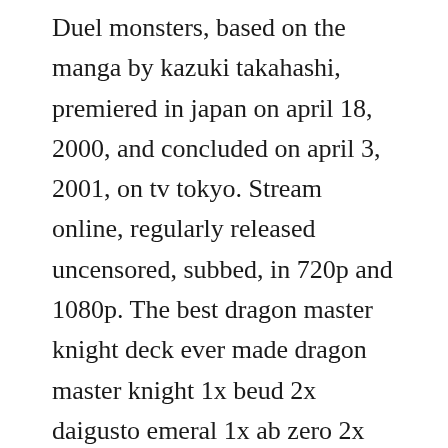Duel monsters, based on the manga by kazuki takahashi, premiered in japan on april 18, 2000, and concluded on april 3, 2001, on tv tokyo. Stream online, regularly released uncensored, subbed, in 720p and 1080p. The best dragon master knight deck ever made dragon master knight 1x beud 2x daigusto emeral 1x ab zero 2x the shining 6x other things. With dan green, shunsuke kazama, wayne grayson, hiroki takahashi. In this part, were pulling off the summon of dragon master knight. Yugioh dragon master knight limited edition ue02en001. Fourtailed naruto used his